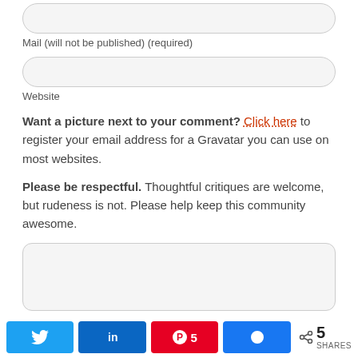Mail (will not be published) (required)
Website
Want a picture next to your comment? Click here to register your email address for a Gravatar you can use on most websites.
Please be respectful. Thoughtful critiques are welcome, but rudeness is not. Please help keep this community awesome.
[Figure (screenshot): Comment form with social share buttons: Twitter, LinkedIn, Pinterest (5 saves), Facebook, and a share count of 5 SHARES]